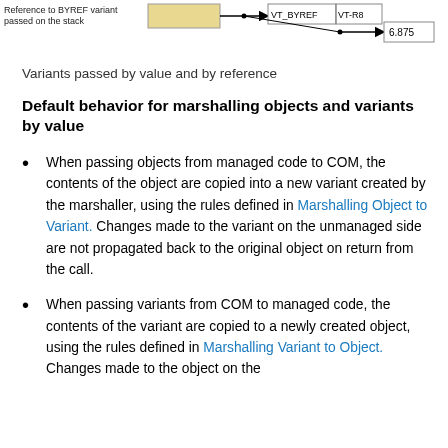[Figure (engineering-diagram): Diagram showing a reference to BYREF variant passed on the stack, with boxes labeled VT_BYREF and VT-R8 connected by arrows, and a value of 6.875]
Reference to BYREF variant passed on the stack
Variants passed by value and by reference
Default behavior for marshalling objects and variants by value
When passing objects from managed code to COM, the contents of the object are copied into a new variant created by the marshaller, using the rules defined in Marshalling Object to Variant. Changes made to the variant on the unmanaged side are not propagated back to the original object on return from the call.
When passing variants from COM to managed code, the contents of the variant are copied to a newly created object, using the rules defined in Marshalling Variant to Object. Changes made to the object on the